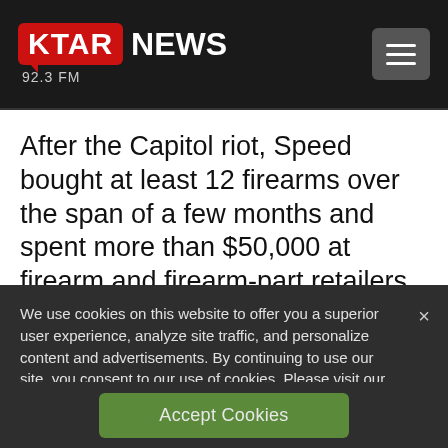KTAR NEWS 92.3 FM
After the Capitol riot, Speed bought at least 12 firearms over the span of a few months and spent more than $50,000 at firearm and firearm-part retailers, a prosecutor said in a court filing.
We use cookies on this website to offer you a superior user experience, analyze site traffic, and personalize content and advertisements. By continuing to use our site, you consent to our use of cookies. Please visit our Privacy Policy for more information.
Accept Cookies